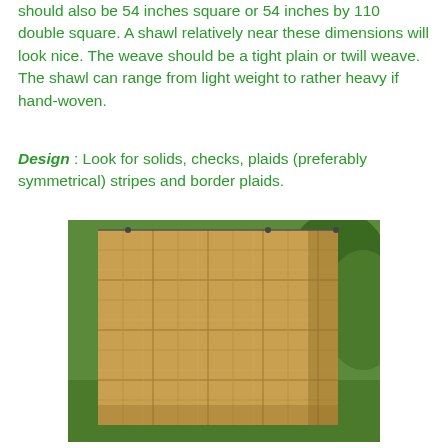should also be 54 inches square or 54 inches by 110 double square. A shawl relatively near these dimensions will look nice. The weave should be a tight plain or twill weave. The shawl can range from light weight to rather heavy if hand-woven.
Design : Look for solids, checks, plaids (preferably symmetrical) stripes and border plaids.
[Figure (photo): A plaid shawl hanging outdoors on a clothesline against a backdrop of green trees and grass. The shawl has a tan/golden color with a subtle plaid pattern.]